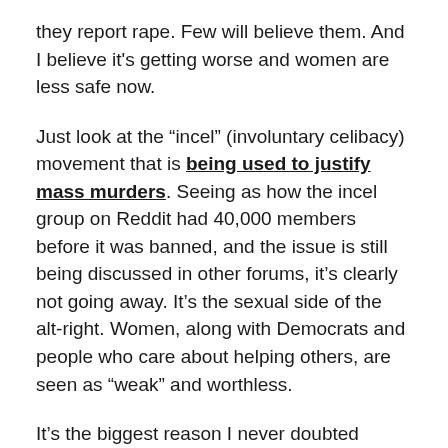they report rape. Few will believe them. And I believe it's getting worse and women are less safe now.
Just look at the “incel” (involuntary celibacy) movement that is being used to justify mass murders. Seeing as how the incel group on Reddit had 40,000 members before it was banned, and the issue is still being discussed in other forums, it’s clearly not going away. It’s the sexual side of the alt-right. Women, along with Democrats and people who care about helping others, are seen as “weak” and worthless.
It’s the biggest reason I never doubted Trump would win, like so many of my friends did: I knew the size of the community and their anger. Honestly, I should have seen this coming years ago with the Heartiste site (not linking to it) and the whole idea that men who respected women were wimpy “betas.” That whole movement promised men